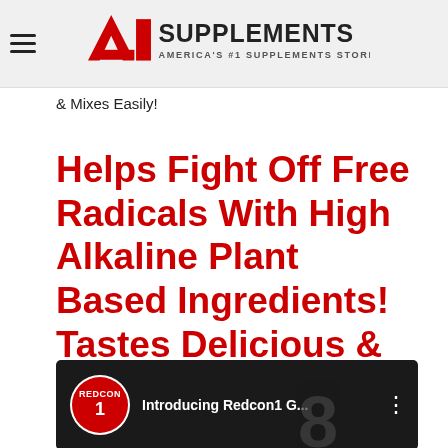A1 Supplements — America's #1 Supplements Store
& Mixes Easily!
Helps Fight Off Free Radicals With High Alkaline Plant Based Ingredients! Tastes Delicious & Mixes Easily!
[Figure (screenshot): YouTube video thumbnail showing Redcon1 logo, title 'Introducing Redcon1 G...' with a person and the number 8 visible]